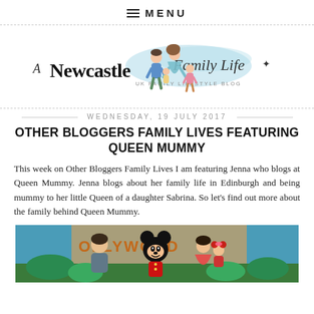MENU
[Figure (logo): A Newcastle Family Life blog logo with illustrated family cartoon characters and script/handwritten typography. Tagline: UK FAMILY LIFESTYLE BLOG]
WEDNESDAY, 19 JULY 2017
OTHER BLOGGERS FAMILY LIVES FEATURING QUEEN MUMMY
This week on Other Bloggers Family Lives I am featuring Jenna who blogs at Queen Mummy. Jenna blogs about her family life in Edinburgh and being mummy to her little Queen of a daughter Sabrina. So let's find out more about the family behind Queen Mummy.
[Figure (photo): A family photo at a Hollywood-themed Disney location: a man, Mickey Mouse character, a woman holding a toddler girl in a red dress, with a 'OLLYWOOD' sign visible in background.]